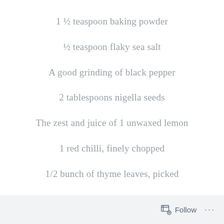1 ½ teaspoon baking powder
½ teaspoon flaky sea salt
A good grinding of black pepper
2 tablespoons nigella seeds
The zest and juice of 1 unwaxed lemon
1 red chilli, finely chopped
1/2 bunch of thyme leaves, picked
150g feta, crumbled
Follow ...